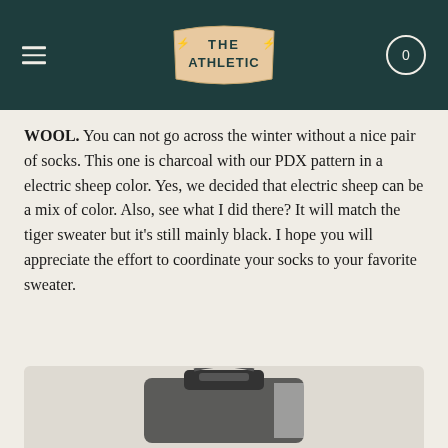The Athletic — navigation header with logo and cart
WOOL. You can not go across the winter without a nice pair of socks. This one is charcoal with our PDX pattern in a electric sheep color. Yes, we decided that electric sheep can be a mix of color. Also, see what I did there? It will match the tiger sweater but it's still mainly black. I hope you will appreciate the effort to coordinate your socks to your favorite sweater.
GOOD FLOCK BAG & GROUP LESSON – $300:
[Figure (photo): Product photo of a bag, partially visible at the bottom of the page]